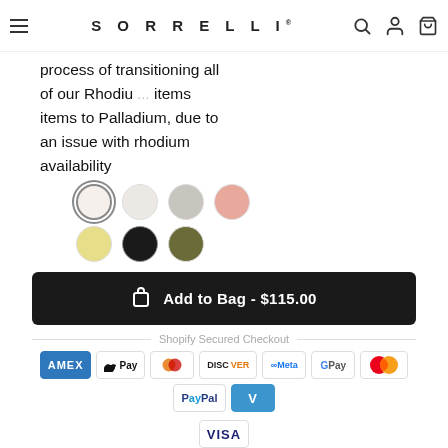SORRELLI
process of transitioning all of our Rhodium items to Palladium, due to an issue with rhodium availability
[Figure (other): Color swatches: row 1 - white (selected), cream, gray, rose; row 2 - gold, black, olive]
Add to Bag - $115.00
Shopify Secured Checkout
[Figure (other): Payment method icons: AMEX, Apple Pay, Diners Club, Discover, Meta Pay, Google Pay, Mastercard, PayPal, Venmo, Visa]
Our Promise | Description | Shipping
A truly divine pendant. This delicate cross necklace features multi-cut crystals in an antique inspired setting.